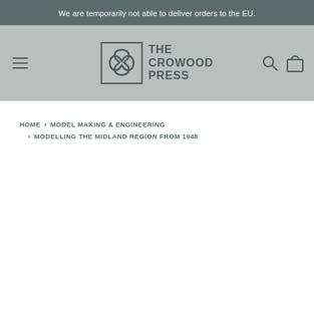We are temporarily not able to deliver orders to the EU.
[Figure (logo): The Crowood Press logo with decorative cross mark and text 'THE CROWOOD PRESS']
HOME > MODEL MAKING & ENGINEERING > MODELLING THE MIDLAND REGION FROM 1948